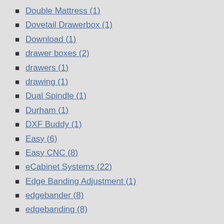Double Mattress (1)
Dovetail Drawerbox (1)
Download (1)
drawer boxes (2)
drawers (1)
drawing (1)
Dual Spindle (1)
Durham (1)
DXF Buddy (1)
Easy (6)
Easy CNC (8)
eCabinet Systems (22)
Edge Banding Adjustment (1)
edgebander (8)
edgebanding (8)